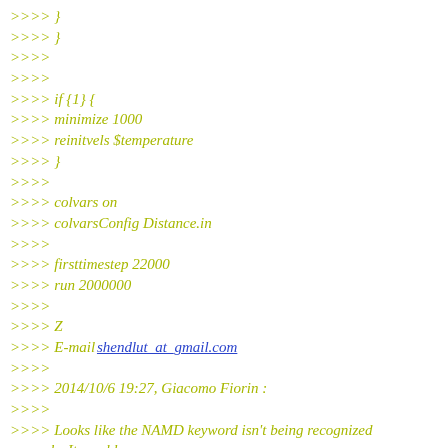>>>> }
>>>> }
>>>>
>>>>
>>>> if {1} {
>>>> minimize 1000
>>>> reinitvels $temperature
>>>> }
>>>>
>>>> colvars on
>>>> colvarsConfig Distance.in
>>>>
>>>> firsttimestep 22000
>>>> run 2000000
>>>>
>>>> Z
>>>> E-mail: shendlut_at_gmail.com
>>>>
>>>> 2014/10/6 19:27, Giacomo Fiorin :
>>>>
>>>> Looks like the NAMD keyword isn't being recognized properly. It would
>>>> be better to look at the entire NAMD configuration file.
>>>> On Oct 6, 2014 6:54 AM, "Z" <shenzldlut_at_gmail.com> wrote:
wrote: